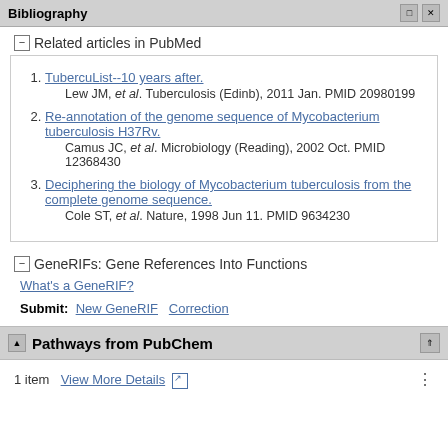Bibliography
Related articles in PubMed
1. TubercuList--10 years after. Lew JM, et al. Tuberculosis (Edinb), 2011 Jan. PMID 20980199
2. Re-annotation of the genome sequence of Mycobacterium tuberculosis H37Rv. Camus JC, et al. Microbiology (Reading), 2002 Oct. PMID 12368430
3. Deciphering the biology of Mycobacterium tuberculosis from the complete genome sequence. Cole ST, et al. Nature, 1998 Jun 11. PMID 9634230
GeneRIFs: Gene References Into Functions
What's a GeneRIF?
Submit: New GeneRIF Correction
Pathways from PubChem
1 item View More Details